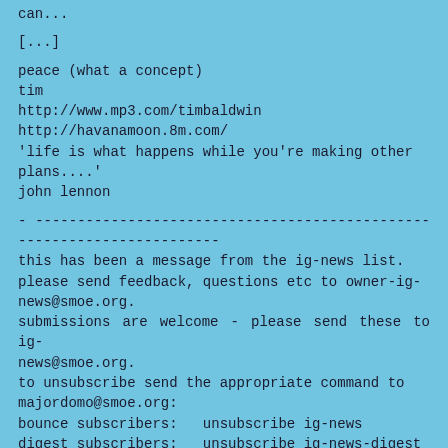can...
[...]
peace (what a concept)
tim
http://www.mp3.com/timbaldwin
http://havanamoon.8m.com/
'life is what happens while you're making other plans....'
john lennon
- -----------------------------------------------------------------------
this has been a message from the ig-news list.
please send feedback, questions etc to owner-ig-news@smoe.org.
submissions are welcome - please send these to ig-news@smoe.org.
to unsubscribe send the appropriate command to majordomo@smoe.org:
bounce subscribers:   unsubscribe ig-news
digest subscribers:   unsubscribe ig-news-digest
--------------------------------
date: tue,  5 mar 2002 15:25:12 +1100
from: sherlyn koo <sherlyn@fl.net.au>